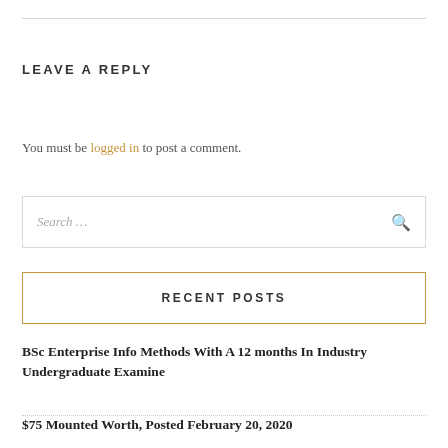LEAVE A REPLY
You must be logged in to post a comment.
Search …
RECENT POSTS
BSc Enterprise Info Methods With A 12 months In Industry Undergraduate Examine
$75 Mounted Worth, Posted February 20, 2020